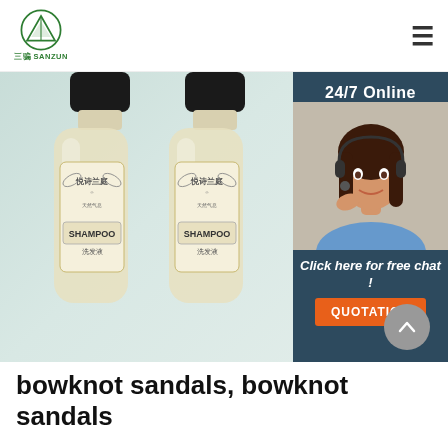[Figure (logo): Sanzun company logo: green triangle/mountain shape with SANZUN text below]
[Figure (photo): Two clear shampoo bottles with botanical labels (悦诗兰庭 SHAMPOO 洗发液) on a light teal/mint background, with a customer service agent overlay panel on the right showing '24/7 Online', a woman with headset, 'Click here for free chat!', and an orange QUOTATION button]
bowknot sandals, bowknot sandals